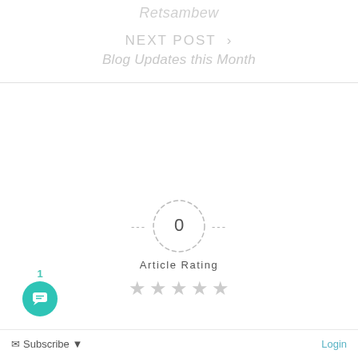Retsambew
NEXT POST >
Blog Updates this Month
[Figure (infographic): Article rating widget showing a dashed circle with '0' inside, flanked by dashes on either side, with 'Article Rating' label below and 5 empty grey stars]
[Figure (infographic): Teal circular chat button with message icon and badge showing '1']
Subscribe ▼    Login